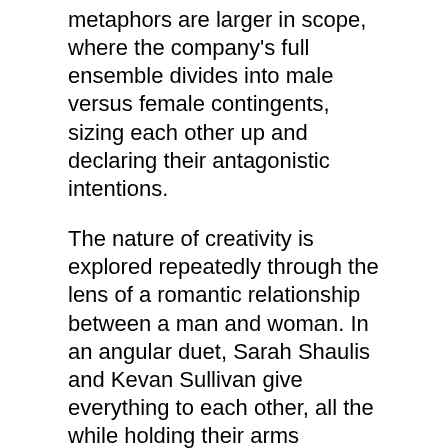metaphors are larger in scope, where the company's full ensemble divides into male versus female contingents, sizing each other up and declaring their antagonistic intentions.
The nature of creativity is explored repeatedly through the lens of a romantic relationship between a man and woman. In an angular duet, Sarah Shaulis and Kevan Sullivan give everything to each other, all the while holding their arms protectively over their vital organs. In a second duet for Rector and Geyer, the relationship becomes mysterious, deepening as they go into a morphing, fluid mode.
Peter Jakubowski created the dramatic lighting design for “Muse.” His use of dim filtered lighting, dark projections, streaming beams of light, and bursts of color shifts with the changing sections of the dance. The score features music by John Levis and Sage DeAgro-Ruopp: The